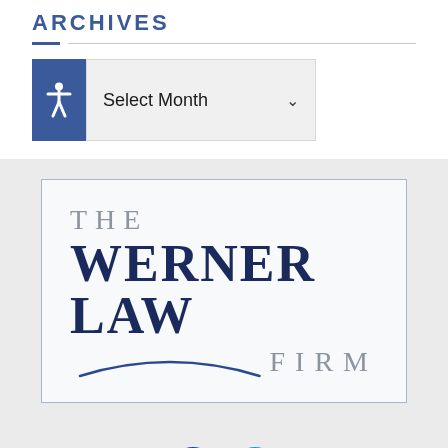ARCHIVES
Select Month
[Figure (logo): The Werner Law Firm logo inside a bordered box with arc design element]
[Figure (infographic): Social media icons: Facebook (dark blue circle with f) and LinkedIn (teal circle with in)]
PRIVACY POLICY